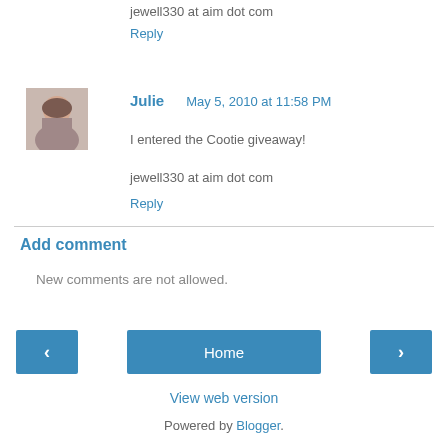jewell330 at aim dot com
Reply
[Figure (photo): Avatar photo of commenter Julie, showing a woman with brown hair]
Julie   May 5, 2010 at 11:58 PM
I entered the Cootie giveaway!
jewell330 at aim dot com
Reply
Add comment
New comments are not allowed.
Home
View web version
Powered by Blogger.